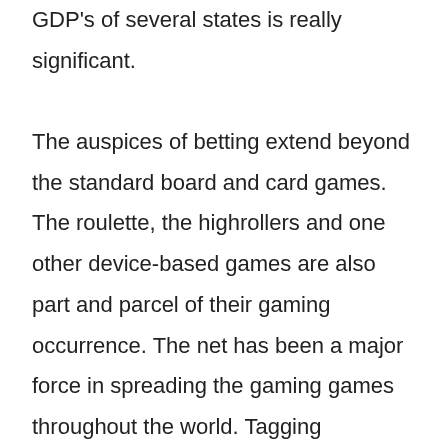GDP's of several states is really significant.

The auspices of betting extend beyond the standard board and card games. The roulette, the highrollers and one other device-based games are also part and parcel of their gaming occurrence. The net has been a major force in spreading the gaming games throughout the world. Tagging gambling for a sport will and it has increased many critical opinions, since the spirit of this game cannot be attached to the gambling games. The trickery can be connected with the gamblers. Because of the the habit of gambling can be illegal by law in many countries.     

Yet another way of looking at things is the way in which